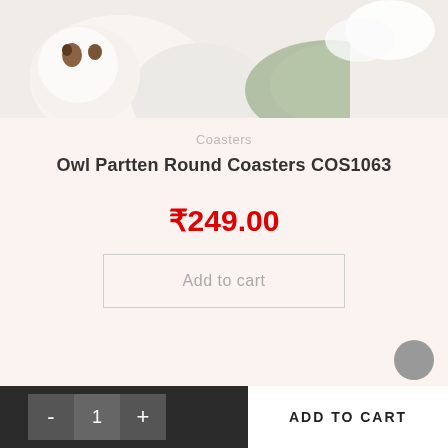[Figure (photo): Product photo showing owl pattern round coasters with white and green elements on a light background]
Coasters
Owl Partten Round Coasters COS1063
₹249.00
Add to cart
- 1 + ADD TO CART